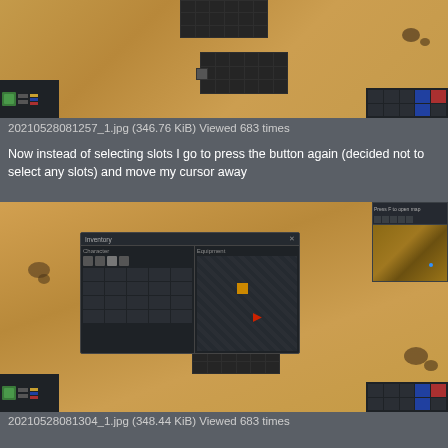[Figure (screenshot): Top screenshot of a strategy game (Factorio-like) showing a desert/sandy map with dark grid-based conveyor belt blocks and UI panels on the left and right bottom corners]
20210528081257_1.jpg (346.76 KiB) Viewed 683 times
Now instead of selecting slots I go to press the button again (decided not to select any slots) and move my cursor away
[Figure (screenshot): Bottom screenshot of the same strategy game showing a desert map with an open inventory/equipment dialog in the center, a minimap in the top-right corner, and UI panels at the bottom corners. The dialog shows inventory slots on the left and an equipment area on the right with an orange item and a red cursor/item.]
20210528081304_1.jpg (348.44 KiB) Viewed 683 times
As you might see the button's texture stays pressed, even though it shouldn't (at least I believe so)